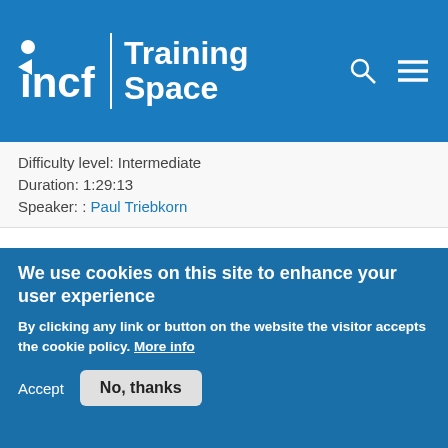INCF Training Space
Difficulty level:   Intermediate
Duration: 1:29:13
Speaker: : Paul Triebkorn
Simulating The Virtual Mouse Brain (TVMB)
Course:  The Virtual Brain Node#10
[Figure (screenshot): Screenshot of a web page showing a colorful brain simulation interface with a book cover visible on the right side]
We use cookies on this site to enhance your user experience
By clicking any link or button on the website the visitor accepts the cookie policy. More info
Accept   No, thanks